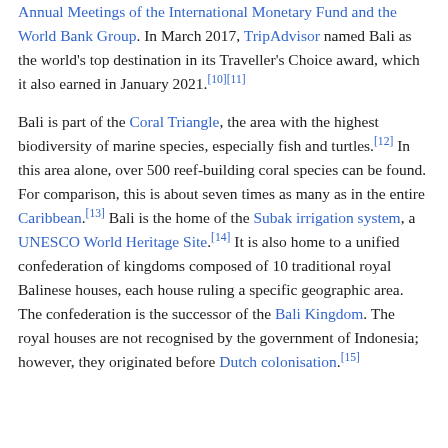Annual Meetings of the International Monetary Fund and the World Bank Group. In March 2017, TripAdvisor named Bali as the world's top destination in its Traveller's Choice award, which it also earned in January 2021.[10][11]
Bali is part of the Coral Triangle, the area with the highest biodiversity of marine species, especially fish and turtles.[12] In this area alone, over 500 reef-building coral species can be found. For comparison, this is about seven times as many as in the entire Caribbean.[13] Bali is the home of the Subak irrigation system, a UNESCO World Heritage Site.[14] It is also home to a unified confederation of kingdoms composed of 10 traditional royal Balinese houses, each house ruling a specific geographic area. The confederation is the successor of the Bali Kingdom. The royal houses are not recognised by the government of Indonesia; however, they originated before Dutch colonisation.[15]